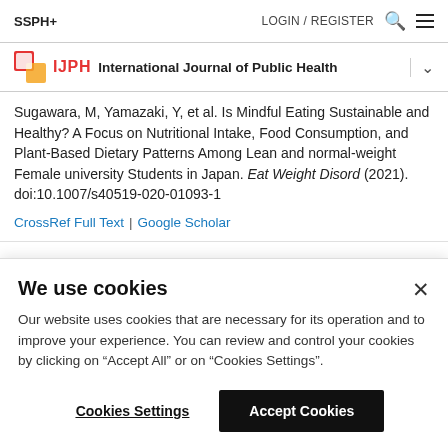SSPH+   LOGIN / REGISTER
IJPH International Journal of Public Health
Sugawara, M, Yamazaki, Y, et al. Is Mindful Eating Sustainable and Healthy? A Focus on Nutritional Intake, Food Consumption, and Plant-Based Dietary Patterns Among Lean and normal-weight Female university Students in Japan. Eat Weight Disord (2021). doi:10.1007/s40519-020-01093-1
CrossRef Full Text | Google Scholar
We use cookies
Our website uses cookies that are necessary for its operation and to improve your experience. You can review and control your cookies by clicking on "Accept All" or on "Cookies Settings".
Cookies Settings   Accept Cookies